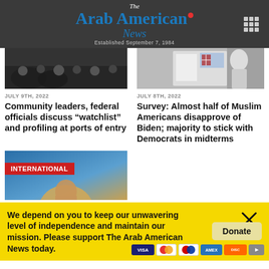The Arab American News — Established September 7, 1984
[Figure (photo): News article thumbnail showing crowd/media scene]
JULY 9TH, 2022
Community leaders, federal officials discuss “watchlist” and profiling at ports of entry
[Figure (photo): News article thumbnail showing person with American flag]
JULY 8TH, 2022
Survey: Almost half of Muslim Americans disapprove of Biden; majority to stick with Democrats in midterms
[Figure (photo): International news photo showing speaker on stage with blue background, INTERNATIONAL badge overlay]
We depend on you to keep our unwavering level of independence and maintain our mission. Please support The Arab American News today.